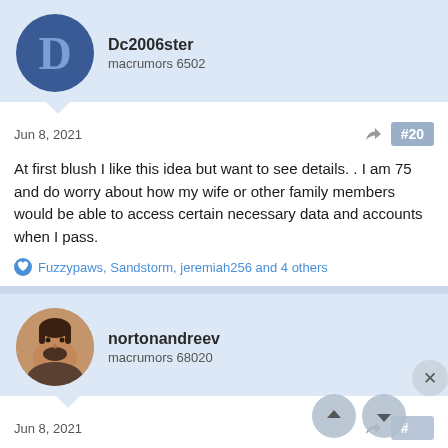[Figure (illustration): User avatar circle with dark blue background and letter D in lighter blue, for user Dc2006ster]
Dc2006ster
macrumors 6502
Jun 8, 2021
#20
At first blush I like this idea but want to see details. . I am 75 and do worry about how my wife or other family members would be able to access certain necessary data and accounts when I pass.
Fuzzypaws, Sandstorm, jeremiah256 and 4 others
[Figure (photo): Circular profile photo of nortonandreev — man with beard and short hair]
nortonandreev
macrumors 68020
Jun 8, 2021
Apple employees have lost their minds during the pan... apparently. I have never been so disappointed with iOS and macOS releases. Apart from lacking anything exciting, one of the changes...